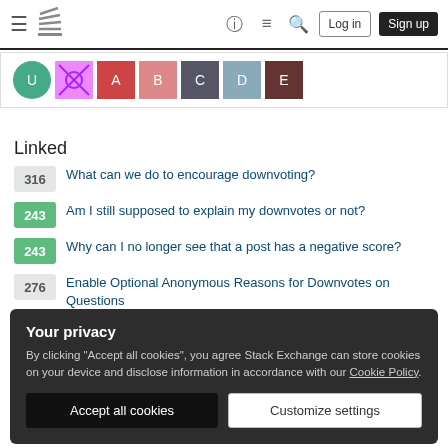Stack Exchange navigation bar with hamburger menu, logo, help, chat, search, Log in, Sign up
[Figure (photo): Strip of user avatar profile pictures]
Linked
316 What can we do to encourage downvoting?
243 Am I still supposed to explain my downvotes or not?
243 Why can I no longer see that a post has a negative score?
276 Enable Optional Anonymous Reasons for Downvotes on Questions
Your privacy
By clicking "Accept all cookies", you agree Stack Exchange can store cookies on your device and disclose information in accordance with our Cookie Policy.
Accept all cookies  Customize settings